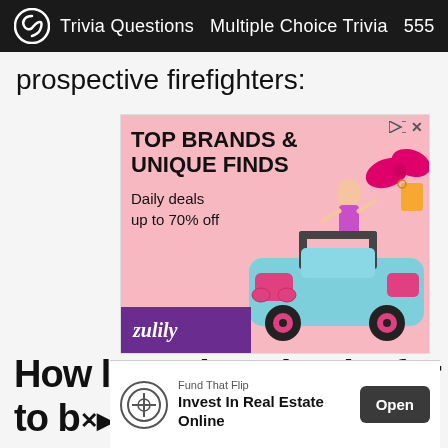Trivia Questions  Multiple Choice Trivia  555
prospective firefighters:
[Figure (illustration): Zulily advertisement showing a Barbie doll in a teal toy jeep with pink accents and bow, text reads TOP BRANDS & UNIQUE FINDS, Daily deals up to 70% off]
How long does it take for you
to be
[Figure (infographic): Bottom banner ad: Fund That Flip - Invest In Real Estate Online, with Open button]